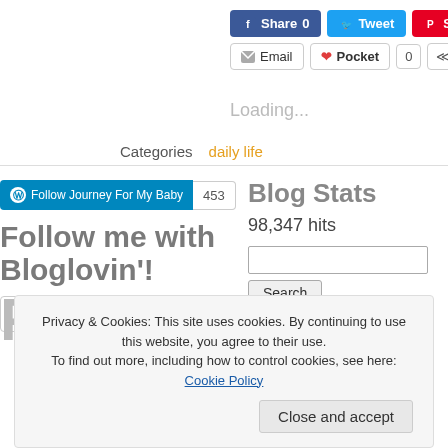[Figure (screenshot): Social sharing buttons: Facebook Share 0, Tweet, Save (Pinterest), Email, Pocket 0, Share icon]
Loading...
Categories    daily life
[Figure (screenshot): Follow Journey For My Baby WordPress follow button with count 453]
Follow me with Bloglovin'!
Follow me on bloglovin'
Blog Stats
98,347 hits
Privacy & Cookies: This site uses cookies. By continuing to use this website, you agree to their use.
To find out more, including how to control cookies, see here: Cookie Policy
Close and accept